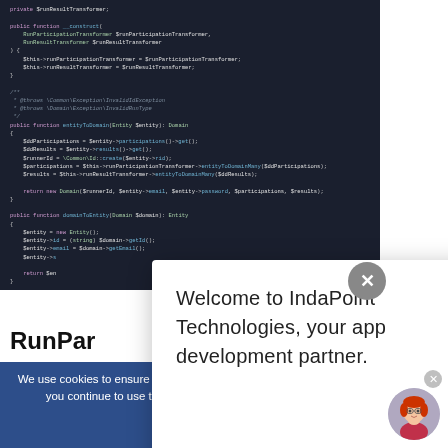[Figure (screenshot): Dark-themed PHP code editor screenshot showing a class with constructor, entityToDomain, and domainToEntity methods. Dark navy background with color-coded syntax.]
[Figure (screenshot): White popup dialog with close button (X) showing text: 'Welcome to IndaPoint Technologies, your app development partner.']
RunPar
We use cookies to ensure that we give you the best experience on our website. If you continue to use this site we will assume that you are happy with it.
Ok
[Figure (illustration): Circular chat avatar showing a cartoon female character with red hair.]